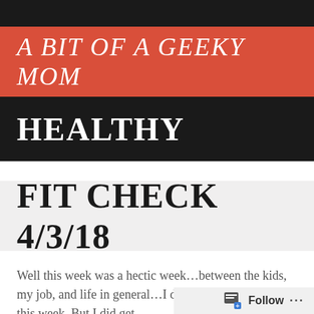A BIT OF A GEEKY MOM
HEALTHY
FIT CHECK 4/3/18
Well this week was a hectic week...between the kids, my job, and life in general...I did not get much done this week. But I did get